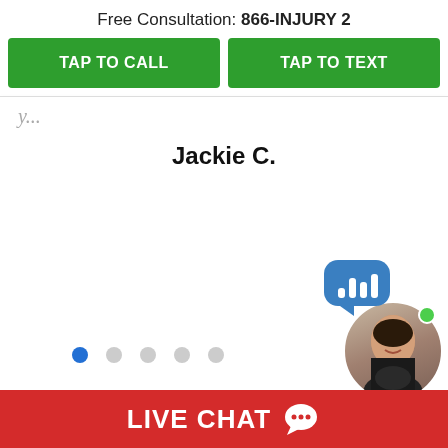Free Consultation: 866-INJURY 2
TAP TO CALL
TAP TO TEXT
Jackie C.
[Figure (screenshot): Live chat agent widget showing a woman's photo, a blue speech bubble with audio wave bars, a green online dot, and an 'Online Agent' label]
LIVE CHAT